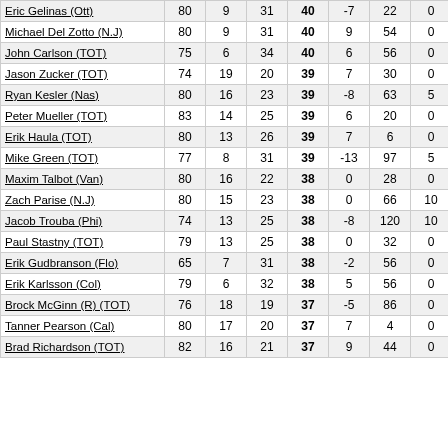| Player | GP | G | A | PTS | +/- | PIM | PP | SOG | FW |  |
| --- | --- | --- | --- | --- | --- | --- | --- | --- | --- | --- |
| Eric Gelinas (Ott) | 80 | 9 | 31 | 40 | -7 | 22 | 0 | 117 | 136 | 6 |
| Michael Del Zotto (N.J) | 80 | 9 | 31 | 40 | 9 | 54 | 0 | 104 | 109 | 8 |
| John Carlson (TOT) | 75 | 6 | 34 | 40 | 6 | 56 | 0 | 127 | 157 | 3 |
| Jason Zucker (TOT) | 74 | 19 | 20 | 39 | 7 | 30 | 0 | 93 | 132 | 1 |
| Ryan Kesler (Nas) | 80 | 16 | 23 | 39 | -8 | 63 | 5 | 113 | 121 | 1 |
| Peter Mueller (TOT) | 83 | 14 | 25 | 39 | 6 | 20 | 0 | 57 | 160 | 8 |
| Erik Haula (TOT) | 80 | 13 | 26 | 39 | 7 | 6 | 0 | 91 | 154 | 8 |
| Mike Green (TOT) | 77 | 8 | 31 | 39 | -13 | 97 | 5 | 97 | 125 | 6 |
| Maxim Talbot (Van) | 80 | 16 | 22 | 38 | 0 | 28 | 0 | 68 | 132 | 1 |
| Zach Parise (N.J) | 80 | 15 | 23 | 38 | 0 | 66 | 10 | 88 | 204 | 7 |
| Jacob Trouba (Phi) | 74 | 13 | 25 | 38 | -8 | 120 | 10 | 111 | 115 | 1 |
| Paul Stastny (TOT) | 79 | 13 | 25 | 38 | 0 | 32 | 0 | 82 | 125 | 1 |
| Erik Gudbranson (Flo) | 65 | 7 | 31 | 38 | -2 | 56 | 0 | 122 | 138 | 5 |
| Erik Karlsson (Col) | 79 | 6 | 32 | 38 | 5 | 56 | 0 | 90 | 100 | 6 |
| Brock McGinn (R) (TOT) | 76 | 18 | 19 | 37 | -5 | 86 | 0 | 112 | 134 | 1 |
| Tanner Pearson (Cal) | 80 | 17 | 20 | 37 | 7 | 4 | 0 | 78 | 139 | 1 |
| Brad Richardson (TOT) | 82 | 16 | 21 | 37 | 9 | 44 | 0 | 104 | 122 | 1 |